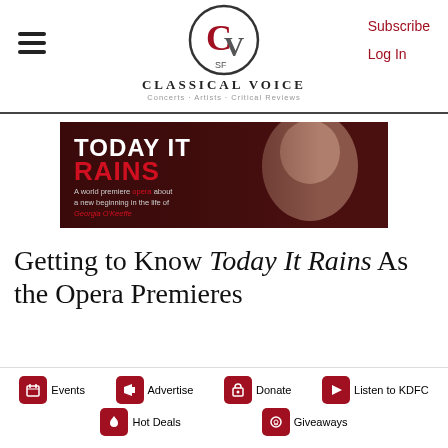CLASSICAL VOICE SF — Concerts · Artists · Critical Reviews
[Figure (illustration): Advertisement banner for opera 'Today It Rains' — dark reddish-brown background with a man's face on the right, text reading 'TODAY IT RAINS' in large white/red letters, and subtitle 'A world premiere opera about a new beginning in the life of Georgia O'Keeffe']
Getting to Know Today It Rains As the Opera Premieres
Janos Gereben on February 5, 2019
Events  Advertise  Donate  Listen to KDFC  Hot Deals  Giveaways